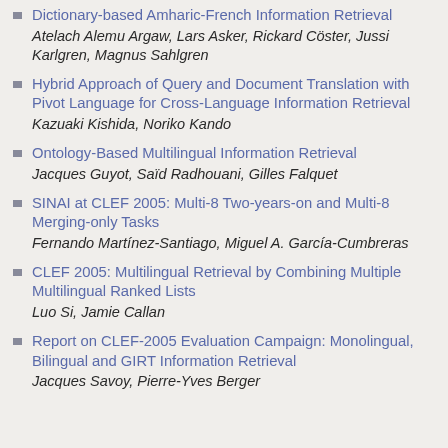Dictionary-based Amharic-French Information Retrieval
Atelach Alemu Argaw, Lars Asker, Rickard Cöster, Jussi Karlgren, Magnus Sahlgren
Hybrid Approach of Query and Document Translation with Pivot Language for Cross-Language Information Retrieval
Kazuaki Kishida, Noriko Kando
Ontology-Based Multilingual Information Retrieval
Jacques Guyot, Saïd Radhouani, Gilles Falquet
SINAI at CLEF 2005: Multi-8 Two-years-on and Multi-8 Merging-only Tasks
Fernando Martínez-Santiago, Miguel A. García-Cumbreras
CLEF 2005: Multilingual Retrieval by Combining Multiple Multilingual Ranked Lists
Luo Si, Jamie Callan
Report on CLEF-2005 Evaluation Campaign: Monolingual, Bilingual and GIRT Information Retrieval
Jacques Savoy, Pierre-Yves Berger